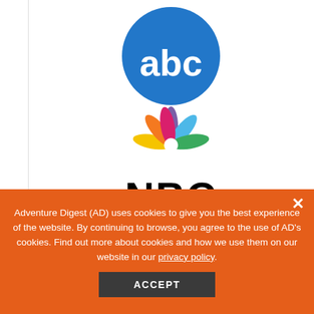[Figure (logo): ABC logo - blue circle with white lowercase 'abc' text]
[Figure (logo): NBC logo - colorful peacock feathers above bold 'NBC' text]
[Figure (logo): AOL logo - bold black 'Aol.' text]
Adventure Digest (AD) uses cookies to give you the best experience of the website. By continuing to browse, you agree to the use of AD's cookies. Find out more about cookies and how we use them on our website in our privacy policy.
ACCEPT